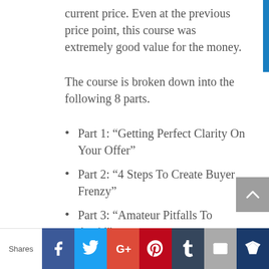current price. Even at the previous price point, this course was extremely good value for the money.
The course is broken down into the following 8 parts.
Part 1: “Getting Perfect Clarity On Your Offer”
Part 2: “4 Steps To Create Buyer Frenzy”
Part 3: “Amateur Pitfalls To Avoid”
Part 4: “Bringing YOU Into Copy”